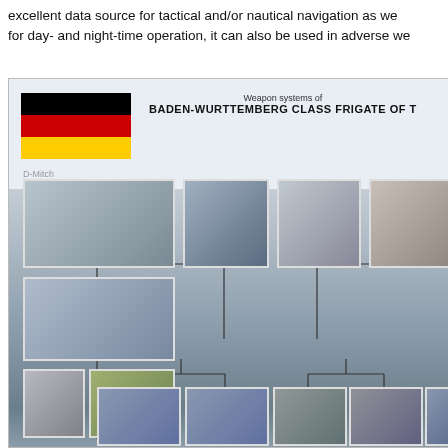excellent data source for tactical and/or nautical navigation as we for day- and night-time operation, it can also be used in adverse we
[Figure (infographic): Weapon systems infographic of the Baden-Wurttemberg Class Frigate of the German Navy. Features the German flag, a central image of the frigate ship, and multiple thumbnail images connected by lines showing various weapon systems including helicopters, missiles, and deck-mounted gun systems.]